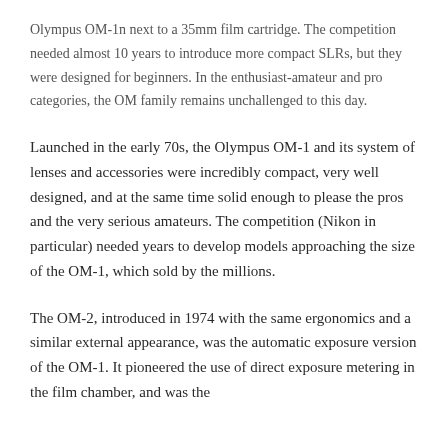Olympus OM-1n next to a 35mm film cartridge. The competition needed almost 10 years to introduce more compact SLRs, but they were designed for beginners. In the enthusiast-amateur and pro categories, the OM family remains unchallenged to this day.
Launched in the early 70s, the Olympus OM-1 and its system of lenses and accessories were incredibly compact, very well designed, and at the same time solid enough to please the pros and the very serious amateurs. The competition (Nikon in particular) needed years to develop models approaching the size of the OM-1, which sold by the millions.
The OM-2, introduced in 1974 with the same ergonomics and a similar external appearance, was the automatic exposure version of the OM-1. It pioneered the use of direct exposure metering in the film chamber, and was the